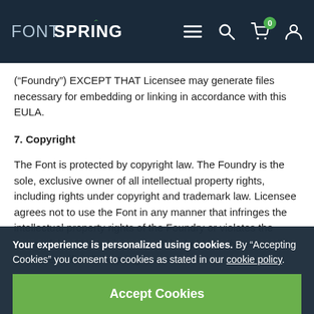FONTSPRING — navigation bar with menu, search, cart (0), and user icons
("Foundry") EXCEPT THAT Licensee may generate files necessary for embedding or linking in accordance with this EULA.
7. Copyright
The Font is protected by copyright law. The Foundry is the sole, exclusive owner of all intellectual property rights, including rights under copyright and trademark law. Licensee agrees not to use the Font in any manner that infringes the intellectual property rights of the Foundry or violates the terms of this EULA. Licensee will be held legally responsible, and indemnifies Fontspring...
Your experience is personalized using cookies. By "Accepting Cookies" you consent to cookies as stated in our cookie policy.
Accept Cookies